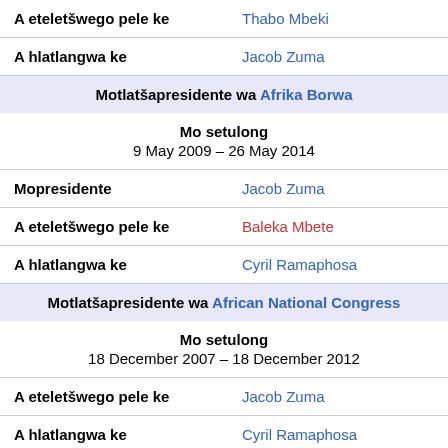| A eteletšwego pele ke | Thabo Mbeki |
| A hlatlangwa ke | Jacob Zuma |
| Motlatšapresidente wa Afrika Borwa |  |
| Mo setulong | 9 May 2009 – 26 May 2014 |
| Mopresidente | Jacob Zuma |
| A eteletšwego pele ke | Baleka Mbete |
| A hlatlangwa ke | Cyril Ramaphosa |
| Motlatšapresidente wa African National Congress |  |
| Mo setulong | 18 December 2007 – 18 December 2012 |
| A eteletšwego pele ke | Jacob Zuma |
| A hlatlangwa ke | Cyril Ramaphosa |